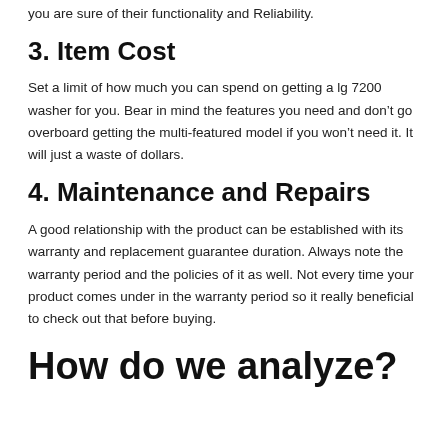you are sure of their functionality and Reliability.
3. Item Cost
Set a limit of how much you can spend on getting a lg 7200 washer for you. Bear in mind the features you need and don't go overboard getting the multi-featured model if you won't need it. It will just a waste of dollars.
4. Maintenance and Repairs
A good relationship with the product can be established with its warranty and replacement guarantee duration. Always note the warranty period and the policies of it as well. Not every time your product comes under in the warranty period so it really beneficial to check out that before buying.
How do we analyze?